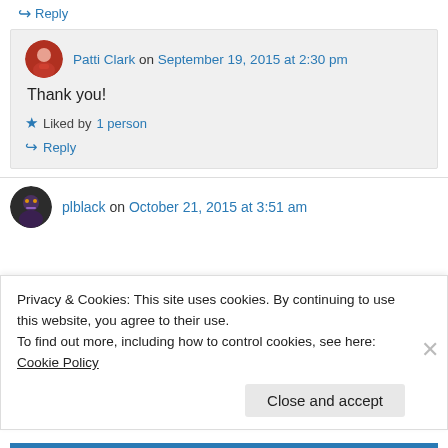↪ Reply
Patti Clark on September 19, 2015 at 2:30 pm
Thank you!
★ Liked by 1 person
↪ Reply
plblack on October 21, 2015 at 3:51 am
Privacy & Cookies: This site uses cookies. By continuing to use this website, you agree to their use.
To find out more, including how to control cookies, see here: Cookie Policy
Close and accept